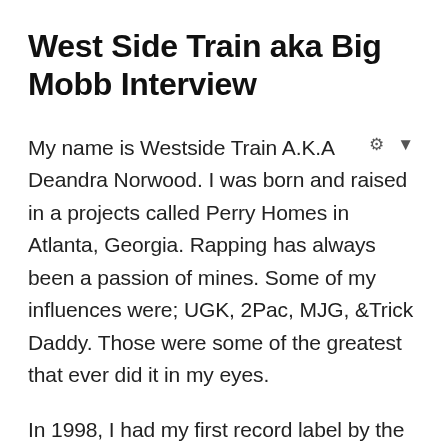West Side Train aka Big Mobb Interview
My name is Westside Train A.K.A Deandra Norwood. I was born and raised in a projects called Perry Homes in Atlanta, Georgia. Rapping has always been a passion of mines. Some of my influences were; UGK, 2Pac, MJG, &Trick Daddy. Those were some of the greatest that ever did it in my eyes.
In 1998, I had my first record label by the name of Shonuff Records. The label consisted of;